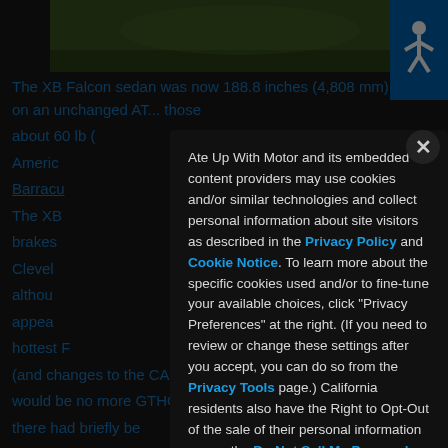[Figure (photo): Partial view of a green field/grass background photo at top of page]
The XB Falcon sedan was now 188.8 inches (4,808 mm) long on an unchanged 4FT... those about 60 lb (... which to American... Barracuda (... whodem... The XB... disc brakes... V 351 Cleveland,... clearances/ride,... although... ... the GT's appearance,... the hottest F... scandal (and changes to the CAMS... car regulations), there would be no more GTHOs or GT Specials. In the late sixties, there had briefly be... Ford's big block engines in the Falcon, but it was no longer a serious production possibility. Not... in 1975, Ford designers Wayne Drager and Peter Arcadipane installed a pair of
Ate Up With Motor and its embedded content providers may use cookies and/or similar technologies and collect personal information about site visitors as described in the Privacy Policy and Cookie Notice. To learn more about the specific cookies used and/or to fine-tune your available choices, click "Privacy Preferences" at the right. (If you need to review or change these settings after you accept, you can do so from the Privacy Tools page.) California residents also have the Right to Opt-Out of the sale of their personal information — see the Do Not Sell My Personal Information page.
Privacy Preferences
I Agree